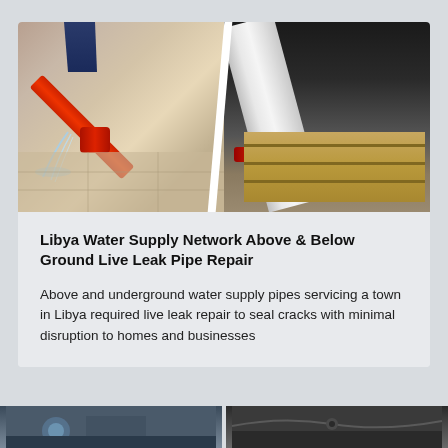[Figure (photo): Two-panel photo showing water pipe repair work. Left panel: a red pipe/hydrant with water spraying out, with worker's legs visible at top. Right panel: a large white pipe with red connector resting on wooden pallets/crate.]
Libya Water Supply Network Above & Below Ground Live Leak Pipe Repair
Above and underground water supply pipes servicing a town in Libya required live leak repair to seal cracks with minimal disruption to homes and businesses
[Figure (photo): Bottom strip showing two partial photos of pipe repair work in dark/outdoor settings.]